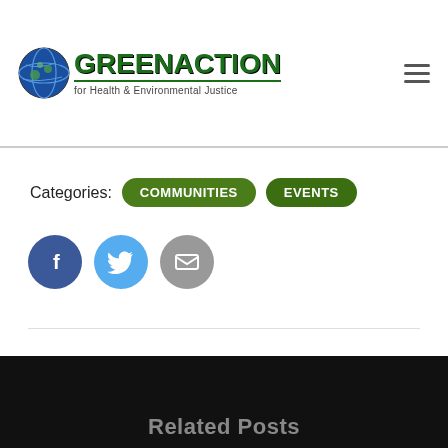[Figure (logo): Greenaction for Health & Environmental Justice logo with globe icon]
Categories: COMMUNITIES EVENTS
[Figure (illustration): Social share icons: Facebook (blue circle with f), Twitter (light blue circle with bird), Email (gray circle with envelope)]
Related Posts